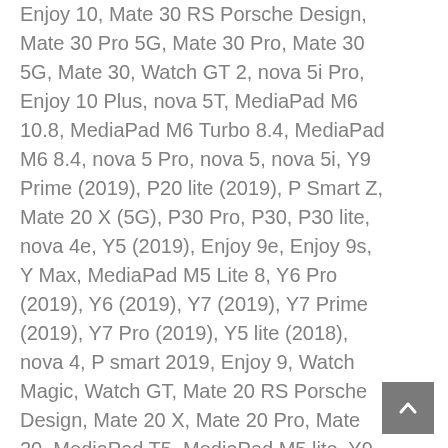Enjoy 10, Mate 30 RS Porsche Design, Mate 30 Pro 5G, Mate 30 Pro, Mate 30 5G, Mate 30, Watch GT 2, nova 5i Pro, Enjoy 10 Plus, nova 5T, MediaPad M6 10.8, MediaPad M6 Turbo 8.4, MediaPad M6 8.4, nova 5 Pro, nova 5, nova 5i, Y9 Prime (2019), P20 lite (2019), P Smart Z, Mate 20 X (5G), P30 Pro, P30, P30 lite, nova 4e, Y5 (2019), Enjoy 9e, Enjoy 9s, Y Max, MediaPad M5 Lite 8, Y6 Pro (2019), Y6 (2019), Y7 (2019), Y7 Prime (2019), Y7 Pro (2019), Y5 lite (2018), nova 4, P smart 2019, Enjoy 9, Watch Magic, Watch GT, Mate 20 RS Porsche Design, Mate 20 X, Mate 20 Pro, Mate 20, MediaPad T5, MediaPad M5 lite, Y9 (2019), Mate 20 lite, P Smart+ 2019, nova 3i, nova 3, Watch 2 2018, Y5 Prime (2018), Y3